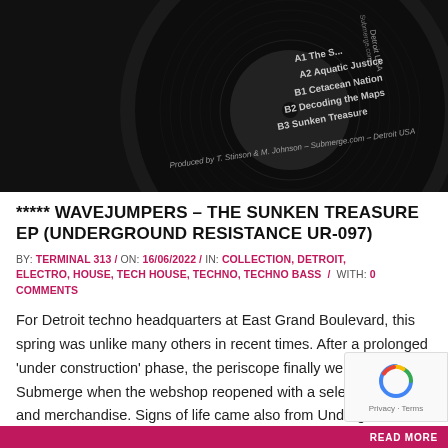[Figure (photo): Close-up photograph of a dark vinyl record label showing track listing: A2 Aquatic Justice, B1 Cetacean Nation, B2 Decoding the Maps, B3 Sunken Treasure. Text: Produced by T. Stinson & M. Johnson - Submerge.com - Detroit USA]
***** WAVEJUMPERS – THE SUNKEN TREASURE EP (UNDERGROUND RESISTANCE UR-097)
BY: TERMINAL 313 / ON: 16/06/2022 / IN: COLLECTION, DETROIT, ELECTRO, HOUSE, TECH HOUSE, TECHNO, TECHNO BASS / WITH: 0 COMMENTS
For Detroit techno headquarters at East Grand Boulevard, this spring was unlike many others in recent times. After a prolonged 'under construction' phase, the periscope finally went up at Submerge when the webshop reopened with a selection of vinyl and merchandise. Signs of life came also from Underground Resistance that